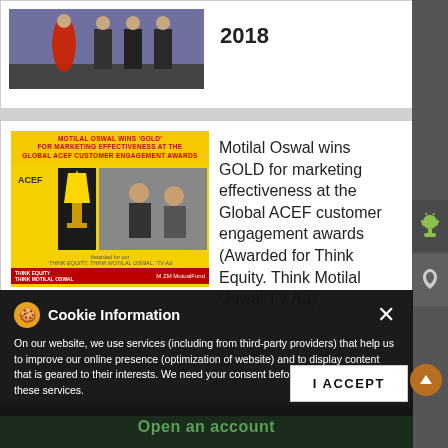[Figure (photo): Award ceremony photo with people in traditional and formal attire]
2018
[Figure (photo): Motilal Oswal wins GOLD for marketing effectiveness at the Global ACEF Customer Engagement Awards. Yellow award banner with trophy and people receiving award. Think Equity. Think Motilal Oswal TV Ad.]
Motilal Oswal wins GOLD for marketing effectiveness at the Global ACEF customer engagement awards (Awarded for Think Equity. Think Motilal Oswal TV Ad)
[Figure (photo): Motilal Oswal TV Ad wins 3 awards at the ABBY Awards for Creative Excellence]
Motilal Oswal TV Ad wins 3 awards at the ABBY Awards for Creative Excellence
Cookie Information
On our website, we use services (including from third-party providers) that help us to improve our online presence (optimization of website) and to display content that is geared to their interests. We need your consent before being able to use these services.
Open an account